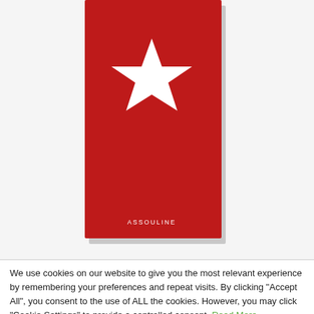[Figure (illustration): Book cover with red background and white star in center, 'ASSOULINE' text at bottom]
We use cookies on our website to give you the most relevant experience by remembering your preferences and repeat visits. By clicking "Accept All", you consent to the use of ALL the cookies. However, you may click "Cookie Settings" to provide a controlled consent. Read More